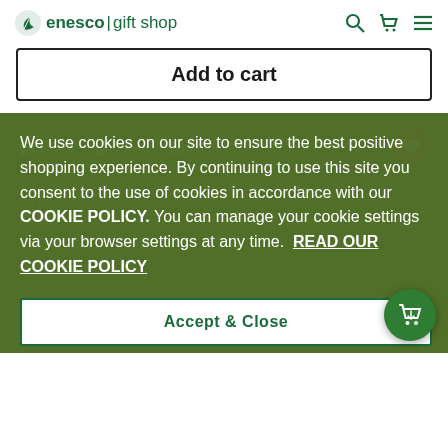enesco | gift shop
Add to cart
Share  Tweet  Pin it
Wide-Eyed Fishy is on the lookout for nautical friends. Checking the time is fun with this colourful, swimming little chum. Our whimsical pendulum clocks add a unique burst of personality to any room.Exclusively designed by Michelle Allen for Enesco. Height: 34.5cm
We use cookies on our site to ensure the best positive shopping experience. By continuing to use this site you consent to the use of cookies in accordance with our COOKIE POLICY. You can manage your cookie settings via your browser settings at any time.  READ OUR COOKIE POLICY
Accept & Close